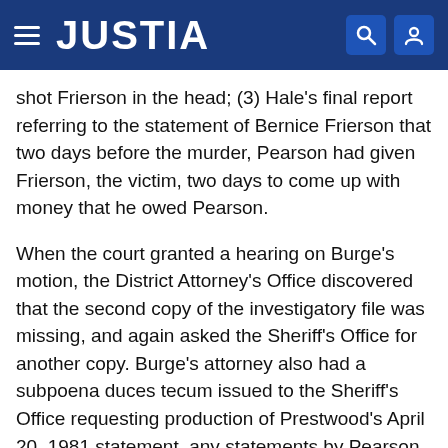JUSTIA
shot Frierson in the head; (3) Hale's final report referring to the statement of Bernice Frierson that two days before the murder, Pearson had given Frierson, the victim, two days to come up with money that he owed Pearson.
When the court granted a hearing on Burge's motion, the District Attorney's Office discovered that the second copy of the investigatory file was missing, and again asked the Sheriff's Office for another copy. Burge's attorney also had a subpoena duces tecum issued to the Sheriff's Office requesting production of Prestwood's April 20, 1981 statement, any statements by Pearson and Glenda Frierson, and any reports or examinations relating to Burge's automobile. Captain McCormick of the Sheriff's Office testified that she could not recall whether she made copies of the investigatory